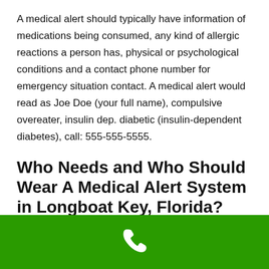A medical alert should typically have information of medications being consumed, any kind of allergic reactions a person has, physical or psychological conditions and a contact phone number for emergency situation contact. A medical alert would read as Joe Doe (your full name), compulsive overeater, insulin dep. diabetic (insulin-dependent diabetes), call: 555-555-5555.
Who Needs and Who Should Wear A Medical Alert System in Longboat Key, Florida?
[Figure (illustration): Green banner bar with a white telephone handset icon centered]